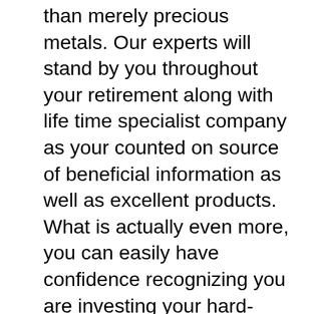than merely precious metals. Our experts will stand by you throughout your retirement along with life time specialist company as your counted on source of beneficial information as well as excellent products. What is actually even more, you can easily have confidence recognizing you are investing your hard-earned cash with a firm that is controlled due to the United States Mint.
Did you recognize that the United States Mint guards United States from “outsider” influences? Let me reveal. If there were actually a terrorist assault or a huge celebration where lots of people were injured, the authorities would certainly need to respond quickly if you want to protect